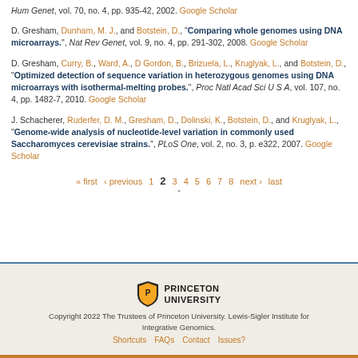Hum Genet, vol. 70, no. 4, pp. 935-42, 2002. Google Scholar
D. Gresham, Dunham, M. J., and Botstein, D., "Comparing whole genomes using DNA microarrays.", Nat Rev Genet, vol. 9, no. 4, pp. 291-302, 2008. Google Scholar
D. Gresham, Curry, B., Ward, A., D Gordon, B., Brizuela, L., Kruglyak, L., and Botstein, D., "Optimized detection of sequence variation in heterozygous genomes using DNA microarrays with isothermal-melting probes.", Proc Natl Acad Sci U S A, vol. 107, no. 4, pp. 1482-7, 2010. Google Scholar
J. Schacherer, Ruderfer, D. M., Gresham, D., Dolinski, K., Botstein, D., and Kruglyak, L., "Genome-wide analysis of nucleotide-level variation in commonly used Saccharomyces cerevisiae strains.", PLoS One, vol. 2, no. 3, p. e322, 2007. Google Scholar
« first ‹ previous 1 2 3 4 5 6 7 8 next › last
Copyright 2022 The Trustees of Princeton University. Lewis-Sigler Institute for Integrative Genomics. Shortcuts FAQs Contact Issues?